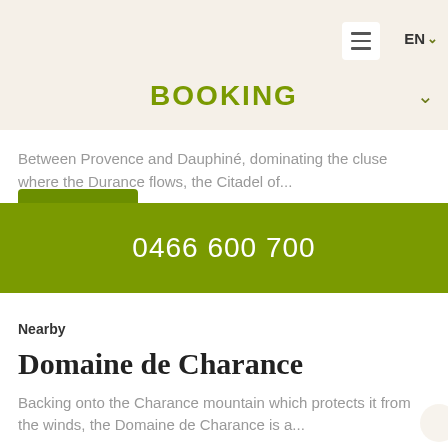BOOKING
Between Provence and Dauphiné, dominating the cluse where the Durance flows, the Citadel of...
0466 600 700
Nearby
Domaine de Charance
Backing onto the Charance mountain which protects it from the winds, the Domaine de Charance is a...